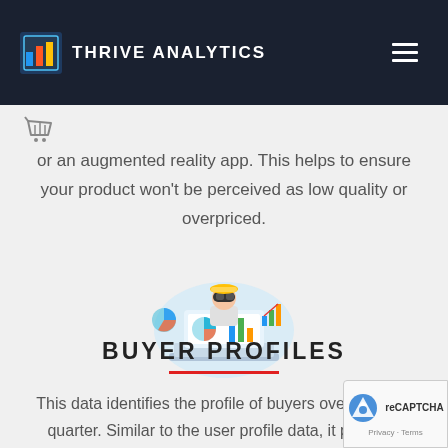Thrive Analytics
or an augmented reality app. This helps to ensure your product won't be perceived as low quality or overpriced.
[Figure (illustration): Person wearing VR headset with analytics charts, pie charts, and bar graphs floating around them on a tablet/laptop, colored in blue, orange and teal. Analytics/data visualization illustration.]
BUYER PROFILES
This data identifies the profile of buyers over the next quarter. Similar to the user profile data, it provides demographically based data to understand the